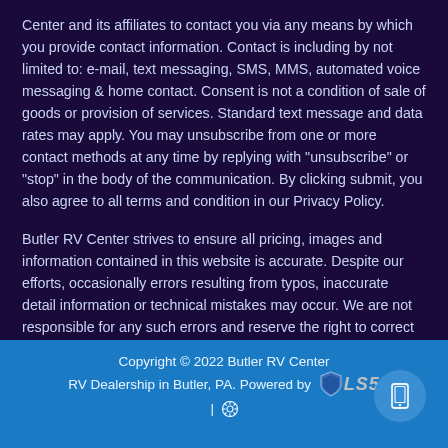Center and its affiliates to contact you via any means by which you provide contact information. Contact is including by not limited to: e-mail, text messaging, SMS, MMS, automated voice messaging & home contact. Consent is not a condition of sale of goods or provision of services. Standard text message and data rates may apply. You may unsubscribe from one or more contact methods at any time by replying with "unsubscribe" or "stop" in the body of the communication. By clicking submit, you also agree to all terms and condition in our Privacy Policy.
Butler RV Center strives to ensure all pricing, images and information contained in this website is accurate. Despite our efforts, occasionally errors resulting from typos, inaccurate detail information or technical mistakes may occur. We are not responsible for any such errors and reserve the right to correct them at any time. Stock photos may not represent actual unit in stock. See dealer for details.
Copyright © 2022 Butler RV Center
RV Dealership in Butler, PA. Powered by [LS5 logo]
| [gear icon]